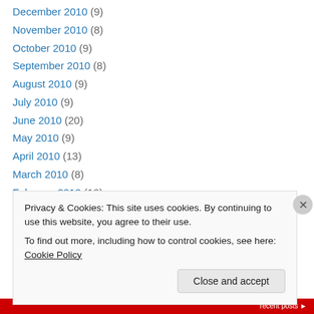December 2010 (9)
November 2010 (8)
October 2010 (9)
September 2010 (8)
August 2010 (9)
July 2010 (9)
June 2010 (20)
May 2010 (9)
April 2010 (13)
March 2010 (8)
February 2010 (16)
January 2010 (9)
December 2009 (4)
Privacy & Cookies: This site uses cookies. By continuing to use this website, you agree to their use. To find out more, including how to control cookies, see here: Cookie Policy
Close and accept